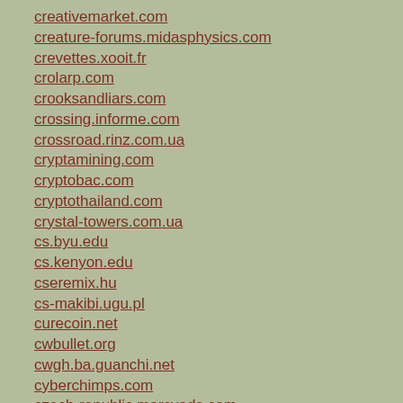creativemarket.com
creature-forums.midasphysics.com
crevettes.xooit.fr
crolarp.com
crooksandliars.com
crossing.informe.com
crossroad.rinz.com.ua
cryptamining.com
cryptobac.com
cryptothailand.com
crystal-towers.com.ua
cs.byu.edu
cs.kenyon.edu
cseremix.hu
cs-makibi.ugu.pl
curecoin.net
cwbullet.org
cwgh.ba.guanchi.net
cyberchimps.com
czech-republic.marcyads.com
dadhahur.com
dailythickness.com